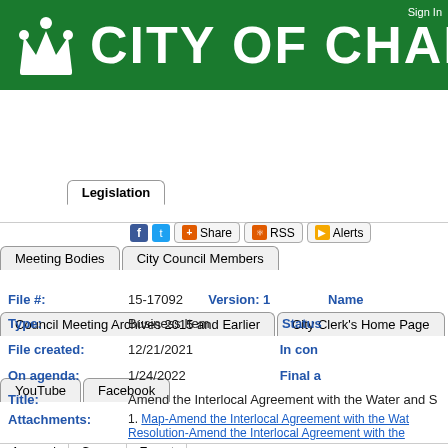CITY OF CHARLO
Sign In
Home | Legislation | Calendar | City Council | Meeting Bodies | City Council Members | Council Meeting Archives 2015 and Earlier | City Clerk's Home Page | YouTube | Facebook
Share RSS Alerts
Details | Reports
File #: 15-17092  Version: 1  Name:
Type: Business Item  Status
File created: 12/21/2021  In co
On agenda: 1/24/2022  Final a
Title: Amend the Interlocal Agreement with the Water and S
Attachments: 1. Map-Amend the Interlocal Agreement with the Wat... Resolution-Amend the Interlocal Agreement with the...
History (1) | Text
1 record  Group  Export